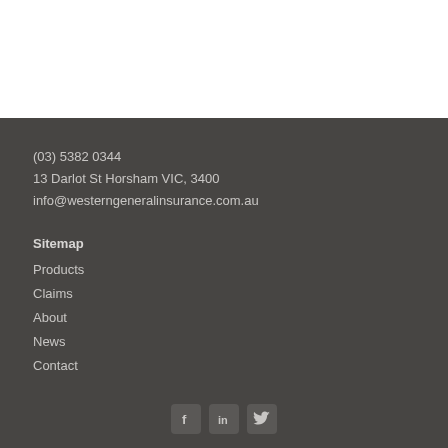(03) 5382 0344
13 Darlot St Horsham VIC, 3400
info@westerngeneralinsurance.com.au
Sitemap
Products
Claims
About
News
Contact
[Figure (illustration): Social media icons for Facebook, LinkedIn, and Twitter at the bottom of the page footer]